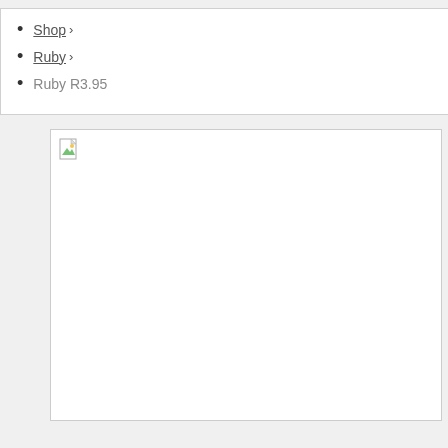Shop >
Ruby >
Ruby R3.95
[Figure (photo): Broken/missing image placeholder with a small broken image icon in the top-left corner. The image box is mostly white/empty.]